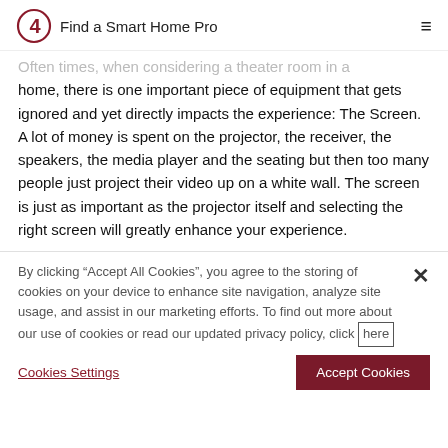Find a Smart Home Pro
Often times, when considering a theater room in a home, there is one important piece of equipment that gets ignored and yet directly impacts the experience: The Screen. A lot of money is spent on the projector, the receiver, the speakers, the media player and the seating but then too many people just project their video up on a white wall. The screen is just as important as the projector itself and selecting the right screen will greatly enhance your experience.
By clicking "Accept All Cookies", you agree to the storing of cookies on your device to enhance site navigation, analyze site usage, and assist in our marketing efforts. To find out more about our use of cookies or read our updated privacy policy, click here
Cookies Settings
Accept Cookies